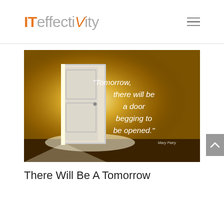ITeffectiVity
[Figure (illustration): A glowing door ajar in a dark amber room with white light emanating from it, overlaid with the quote: "Tomorrow, there will be a door begging to be opened." — Mary Patry]
There Will Be A Tomorrow